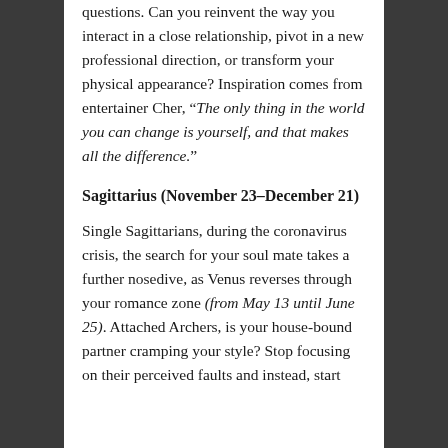questions. Can you reinvent the way you interact in a close relationship, pivot in a new professional direction, or transform your physical appearance? Inspiration comes from entertainer Cher, “The only thing in the world you can change is yourself, and that makes all the difference.”
Sagittarius (November 23–December 21)
Single Sagittarians, during the coronavirus crisis, the search for your soul mate takes a further nosedive, as Venus reverses through your romance zone (from May 13 until June 25). Attached Archers, is your house-bound partner cramping your style? Stop focusing on their perceived faults and instead, start